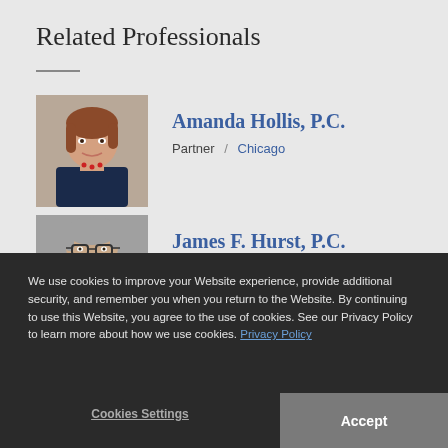Related Professionals
[Figure (photo): Headshot of Amanda Hollis, P.C. — woman with auburn hair, wearing navy blazer and red necklace, smiling]
Amanda Hollis, P.C.
Partner / Chicago
[Figure (photo): Headshot of James F. Hurst, P.C. — man with gray hair, wearing glasses, smiling]
James F. Hurst, P.C.
Partner / Chicago
We use cookies to improve your Website experience, provide additional security, and remember you when you return to the Website. By continuing to use this Website, you agree to the use of cookies. See our Privacy Policy to learn more about how we use cookies. Privacy Policy
Cookies Settings
Accept